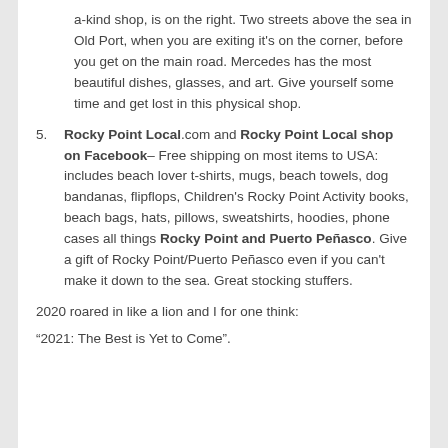a-kind shop, is on the right. Two streets above the sea in Old Port, when you are exiting it's on the corner, before you get on the main road. Mercedes has the most beautiful dishes, glasses, and art. Give yourself some time and get lost in this physical shop.
Rocky Point Local.com and Rocky Point Local shop on Facebook– Free shipping on most items to USA: includes beach lover t-shirts, mugs, beach towels, dog bandanas, flipflops, Children's Rocky Point Activity books, beach bags, hats, pillows, sweatshirts, hoodies, phone cases all things Rocky Point and Puerto Peñasco. Give a gift of Rocky Point/Puerto Peñasco even if you can't make it down to the sea. Great stocking stuffers.
2020 roared in like a lion and I for one think:
“2021: The Best is Yet to Come”.